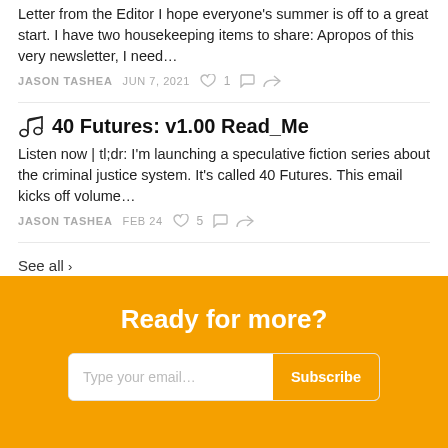Letter from the Editor I hope everyone’s summer is off to a great start. I have two housekeeping items to share: Apropos of this very newsletter, I need…
JASON TASHEA  JUN 7, 2021  ♥ 1  💬  ↪
🎧 40 Futures: v1.00 Read_Me
Listen now | tl;dr: I’m launching a speculative fiction series about the criminal justice system. It’s called 40 Futures. This email kicks off volume…
JASON TASHEA  FEB 24  ♥ 5  💬  ↪
See all ›
Ready for more?
Type your email…  Subscribe